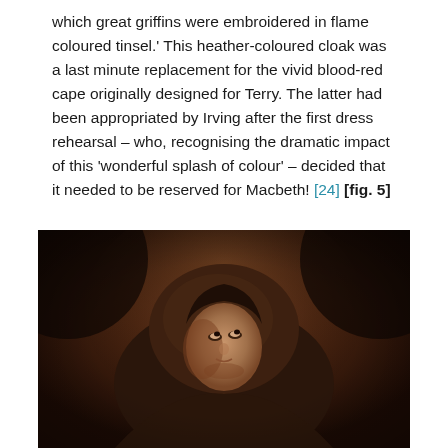which great griffins were embroidered in flame coloured tinsel.' This heather-coloured cloak was a last minute replacement for the vivid blood-red cape originally designed for Terry. The latter had been appropriated by Irving after the first dress rehearsal – who, recognising the dramatic impact of this 'wonderful splash of colour' – decided that it needed to be reserved for Macbeth! [24] [fig. 5]
[Figure (photo): A sepia-toned historical photograph of a person (likely Ellen Terry) wearing a hood or cloak, looking upward and to the side, with a dark background.]